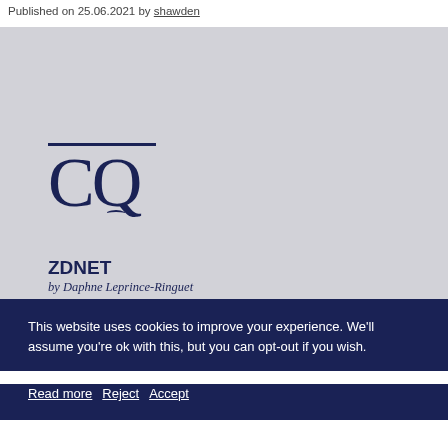Published on 25.06.2021 by shawden
[Figure (logo): CQ brand logo — dark navy blue overline above large serif CQ letters with a decorative tail, on a light grey background. Below the logo: ZDNET heading and italic byline 'by Daphne Leprince-Ringuet']
This website uses cookies to improve your experience. We'll assume you're ok with this, but you can opt-out if you wish.
Read more   Reject   Accept